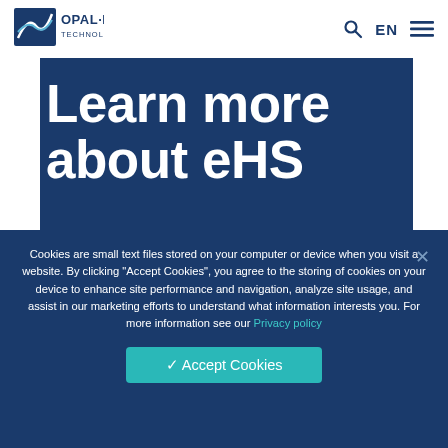[Figure (logo): OPAL-RT Technologies logo — white rectangle with blue stylized lines, text OPAL-RT TECHNOLOGIES in blue]
Learn more about eHS
Get more in-depth information on eHS FPGA-based electrical solver.
[Figure (illustration): White line icon of a computer/server with a semi-circular arc above it, on navy blue background]
Cookies are small text files stored on your computer or device when you visit a website. By clicking “Accept Cookies”, you agree to the storing of cookies on your device to enhance site performance and navigation, analyze site usage, and assist in our marketing efforts to understand what information interests you. For more information see our Privacy policy
✓ Accept Cookies